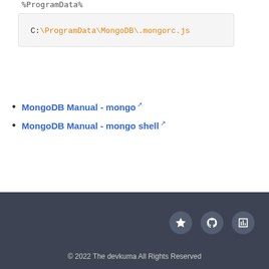%ProgramData%
C:\ProgramData\MongoDB\.mongorc.js
MongoDB Manual - mongo
MongoDB Manual - mongo shell
© 2022 The devkuma All Rights Reserved